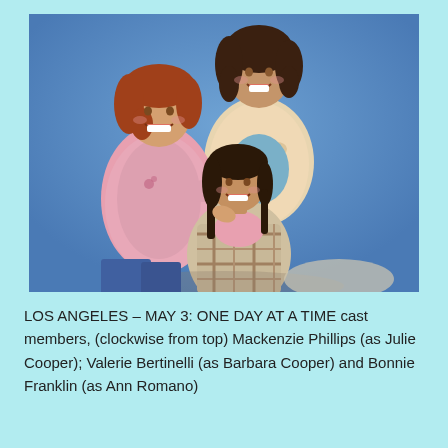[Figure (photo): Promotional cast photo of three women from the TV show ONE DAY AT A TIME. Against a blue studio background: top center is Mackenzie Phillips (as Julie Cooper) with dark hair smiling; left is Valerie Bertinelli (as Barbara Cooper) with red-auburn hair in a pink sweater; center-front is Bonnie Franklin (as Ann Romano) smaller girl with dark hair in a plaid outfit.]
LOS ANGELES – MAY 3: ONE DAY AT A TIME cast members, (clockwise from top) Mackenzie Phillips (as Julie Cooper); Valerie Bertinelli (as Barbara Cooper) and Bonnie Franklin (as Ann Romano)